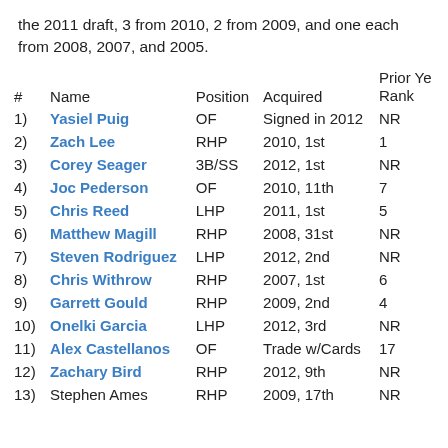the 2011 draft, 3 from 2010, 2 from 2009, and one each from 2008, 2007, and 2005.
| # | Name | Position | Acquired | Prior Year Rank |
| --- | --- | --- | --- | --- |
| 1) | Yasiel Puig | OF | Signed in 2012 | NR |
| 2) | Zach Lee | RHP | 2010, 1st | 1 |
| 3) | Corey Seager | 3B/SS | 2012, 1st | NR |
| 4) | Joc Pederson | OF | 2010, 11th | 7 |
| 5) | Chris Reed | LHP | 2011, 1st | 5 |
| 6) | Matthew Magill | RHP | 2008, 31st | NR |
| 7) | Steven Rodriguez | LHP | 2012, 2nd | NR |
| 8) | Chris Withrow | RHP | 2007, 1st | 6 |
| 9) | Garrett Gould | RHP | 2009, 2nd | 4 |
| 10) | Onelki Garcia | LHP | 2012, 3rd | NR |
| 11) | Alex Castellanos | OF | Trade w/Cards | 17 |
| 12) | Zachary Bird | RHP | 2012, 9th | NR |
| 13) | Stephen Ames | RHP | 2009, 17th | NR |